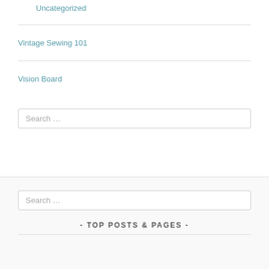Uncategorized
Vintage Sewing 101
Vision Board
Search …
Search …
- TOP POSTS & PAGES -